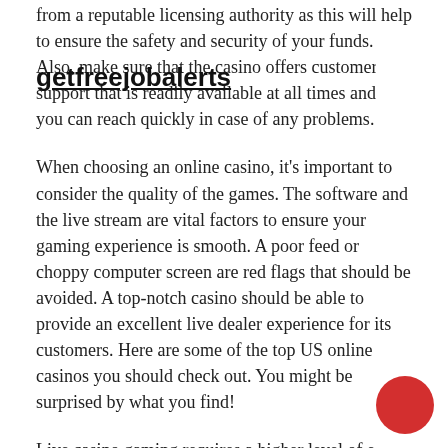from a reputable licensing authority as this will help to ensure the safety and security of your funds. Also, make sure that the casino offers customer support that is readily available at all times and that you can reach quickly in case of any problems.
When choosing an online casino, it's important to consider the quality of the games. The software and the live stream are vital factors to ensure your gaming experience is smooth. A poor feed or choppy computer screen are red flags that should be avoided. A top-notch casino should be able to provide an excellent live dealer experience for its customers. Here are some of the top US online casinos you should check out. You might be surprised by what you find!
Live casino gaming requires a higher level of e-payment security. This will ensure that jackpot winners have peace of mind, as the transactions are encrypted.